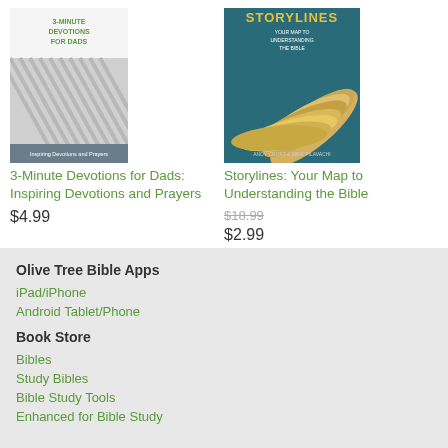[Figure (illustration): Book cover: 3-Minute Devotions for Dads - white cover with diagonal stripe pattern, subtitle Inspiring Devotions and Prayers]
3-Minute Devotions for Dads: Inspiring Devotions and Prayers
$4.99
[Figure (illustration): Book cover: Storylines: Your Map to Understanding the Bible - teal cover with fanned book pages]
Storylines: Your Map to Understanding the Bible
$18.99 (original price, strikethrough)
$2.99
Olive Tree Bible Apps
iPad/iPhone
Android Tablet/Phone
Book Store
Bibles
Study Bibles
Bible Study Tools
Enhanced for Bible Study